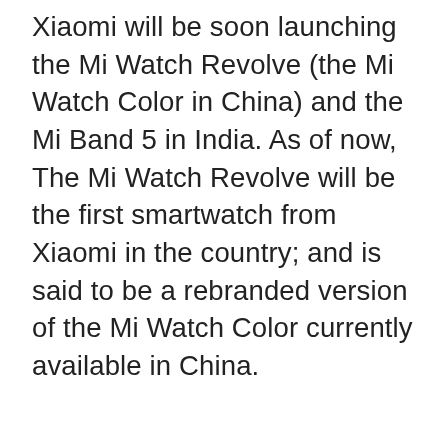Xiaomi will be soon launching the Mi Watch Revolve (the Mi Watch Color in China) and the Mi Band 5 in India. As of now, The Mi Watch Revolve will be the first smartwatch from Xiaomi in the country; and is said to be a rebranded version of the Mi Watch Color currently available in China.
ADVERTISEMENT
[Figure (other): Advertisement placeholder box with an 'Ad' button in the center]